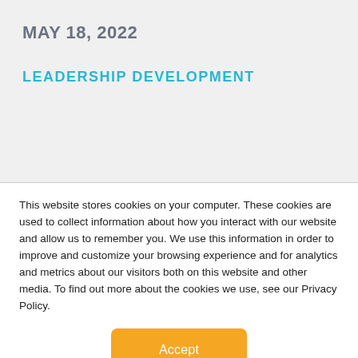MAY 18, 2022
LEADERSHIP DEVELOPMENT
This website stores cookies on your computer. These cookies are used to collect information about how you interact with our website and allow us to remember you. We use this information in order to improve and customize your browsing experience and for analytics and metrics about our visitors both on this website and other media. To find out more about the cookies we use, see our Privacy Policy.
Accept